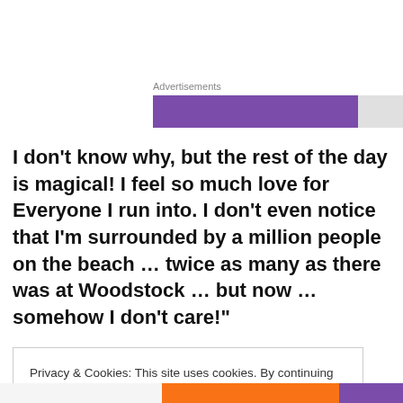Advertisements
[Figure (other): Advertisement placeholder bar with purple and gray sections]
I don’t know why, but the rest of the day is magical! I feel so much love for Everyone I run into. I don’t even notice that I’m surrounded by a million people on the beach … twice as many as there was at Woodstock … but now … somehow I don’t care!”
Privacy & Cookies: This site uses cookies. By continuing to use this website, you agree to their use.
To find out more, including how to control cookies, see here: Cookie Policy
Close and accept